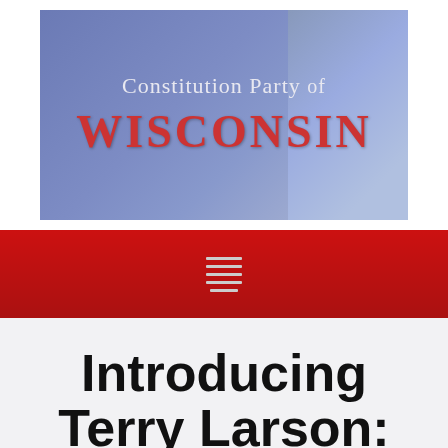[Figure (logo): Constitution Party of Wisconsin header banner with blue/purple gradient background and red 'WISCONSIN' text]
[Figure (other): Red navigation bar with hamburger menu icon (five horizontal lines)]
Introducing Terry Larson: 2018 Candidate for